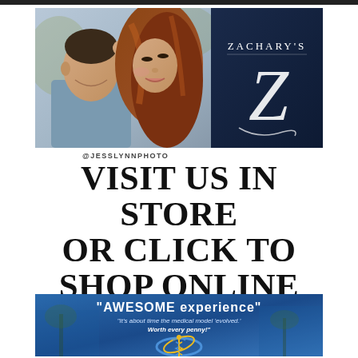[Figure (photo): Couple photo on left side (couple about to kiss/smiling) next to Zachary's jewelry store logo on dark navy background with stylized Z]
@JESSLYNNPHOTO
VISIT US IN STORE OR CLICK TO SHOP ONLINE
[Figure (photo): Medical/health clinic advertisement with blue background showing 'AWESOME experience' quote and medical logo with caduceus symbol]